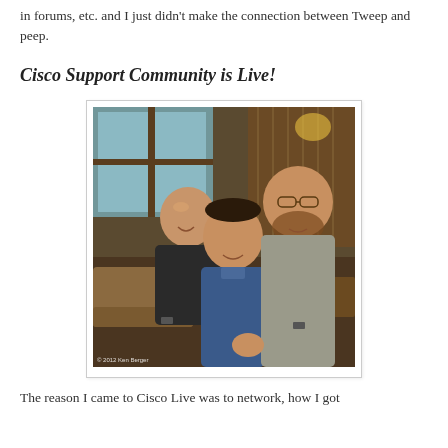in forums, etc. and I just didn't make the connection between Tweep and peep.
Cisco Support Community is Live!
[Figure (photo): Three men posing together and smiling in what appears to be a restaurant or bar setting. Photo credit: © 2012 Ken Berger]
The reason I came to Cisco Live was to network, how I got